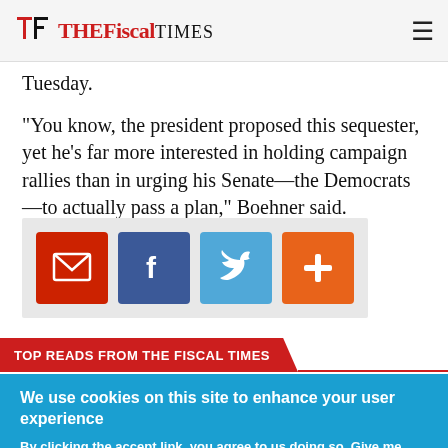The Fiscal Times
Tuesday.
“You know, the president proposed this sequester, yet he’s far more interested in holding campaign rallies than in urging his Senate—the Democrats—to actually pass a plan,” Boehner said.
[Figure (infographic): Social share buttons: email (red), Facebook (dark blue), Twitter (light blue), plus/more (orange)]
TOP READS FROM THE FISCAL TIMES
We use cookies on this site to enhance your user experience
By clicking the accept link, you agree to us doing so. Give me more info
OK, I accept    No, thanks